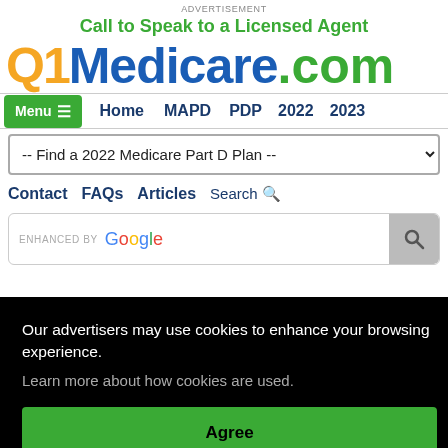Advertisement
Call to Speak to a Licensed Agent
Q1Medicare.com
Menu  Home  MAPD  PDP  2022  2023
-- Find a 2022 Medicare Part D Plan --
Contact  FAQs  Articles  Search
ENHANCED BY Google
Our advertisers may use cookies to enhance your browsing experience.
Learn more about how cookies are used.
Agree
Speak to a Licensed Agent